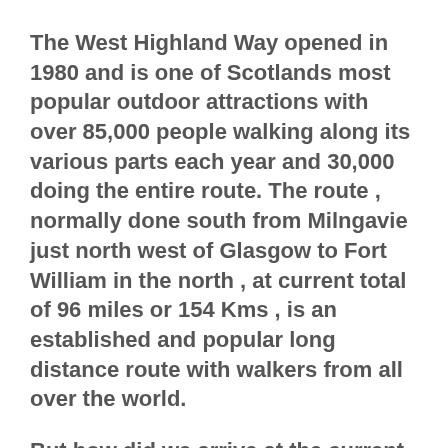The West Highland Way opened in 1980 and is one of Scotlands most popular outdoor attractions with over 85,000 people walking along its various parts each year and 30,000 doing the entire route. The route , normally done south from Milngavie just north west of Glasgow to Fort William in the north , at current total of 96 miles or 154 Kms , is an established and popular long distance route with walkers from all over the world.
But how did we arrive at the current WHW as we recognise it today? The answer is that it has its roots firmly established in within the committee of Glasgow HF Outdoor Club in 1969.